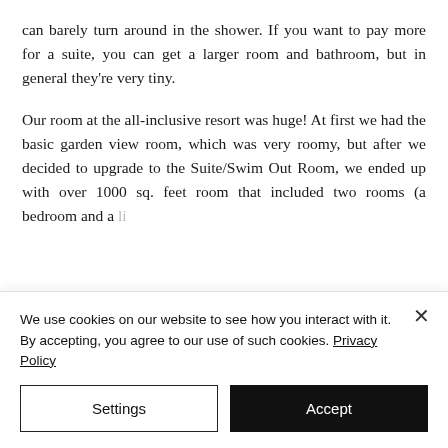can barely turn around in the shower. If you want to pay more for a suite, you can get a larger room and bathroom, but in general they're very tiny.
Our room at the all-inclusive resort was huge! At first we had the basic garden view room, which was very roomy, but after we decided to upgrade to the Suite/Swim Out Room, we ended up with over 1000 sq. feet room that included two rooms (a bedroom and a li...
We use cookies on our website to see how you interact with it. By accepting, you agree to our use of such cookies. Privacy Policy
Settings
Accept